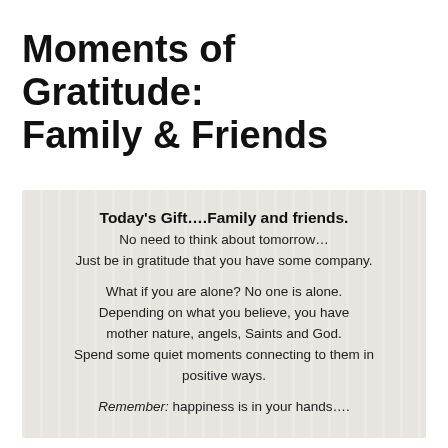Moments of Gratitude: Family & Friends
[Figure (other): A card-like image with a light wood/linen textured background containing centered text: 'Today's Gift….Family and friends.' followed by inspirational paragraphs about gratitude, not being alone, and happiness being in your hands.]